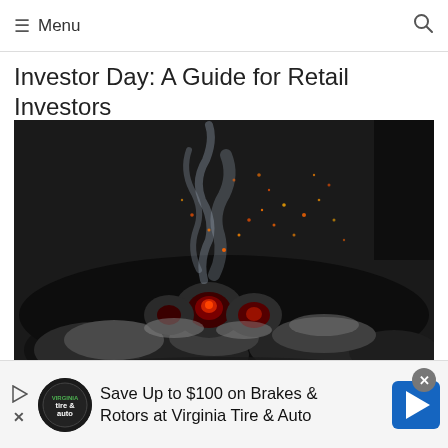≡ Menu
Investor Day: A Guide for Retail Investors
[Figure (photo): Close-up photograph of glowing red-hot charcoal embers with blue smoke and orange sparks rising in a dark bbq grill bowl.]
Stock Catalyst: Defined & Examples
Save Up to $100 on Brakes & Rotors at Virginia Tire & Auto